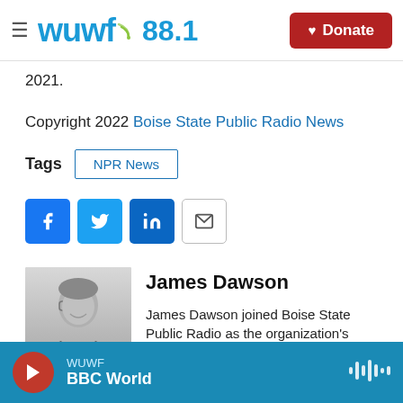WUWF 88.1 — Donate
2021.
Copyright 2022 Boise State Public Radio News
Tags  NPR News
[Figure (infographic): Social sharing buttons: Facebook, Twitter, LinkedIn, Email]
[Figure (photo): Black and white headshot photo of James Dawson]
James Dawson
James Dawson joined Boise State Public Radio as the organization's News Director
WUWF BBC World — player bar